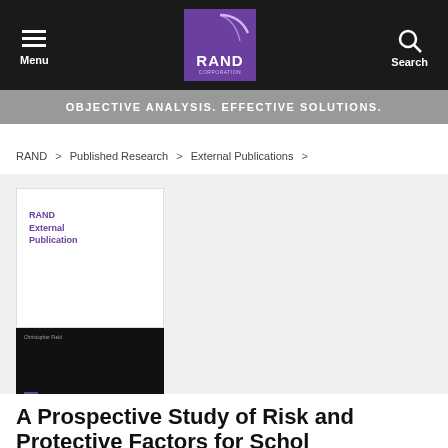Menu | RAND Corporation | Search
OBJECTIVE ANALYSIS. EFFECTIVE SOLUTIONS.
RAND > Published Research > External Publications >
[Figure (illustration): RAND External Publication book cover — white top half with purple RAND External Publication text, black bottom half with author name Christopher Field and RAND Research Division logo]
A Prospective Study of Risk and Protective Factors for School...